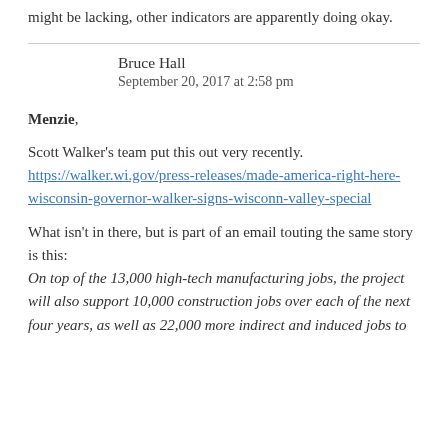might be lacking, other indicators are apparently doing okay.
Bruce Hall
September 20, 2017 at 2:58 pm
Menzie,

Scott Walker's team put this out very recently.
https://walker.wi.gov/press-releases/made-america-right-here-wisconsin-governor-walker-signs-wisconn-valley-special

What isn't in there, but is part of an email touting the same story is this:
On top of the 13,000 high-tech manufacturing jobs, the project will also support 10,000 construction jobs over each of the next four years, as well as 22,000 more indirect and induced jobs to